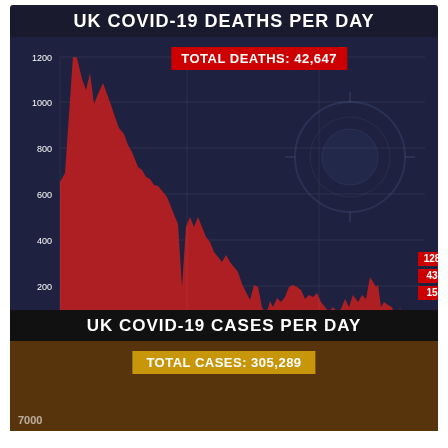UK COVID-19 DEATHS PER DAY
[Figure (area-chart): UK COVID-19 DEATHS PER DAY]
UK COVID-19 CASES PER DAY
[Figure (area-chart): Partial view of cases-per-day area chart, showing 7000 on y-axis and total cases annotation]